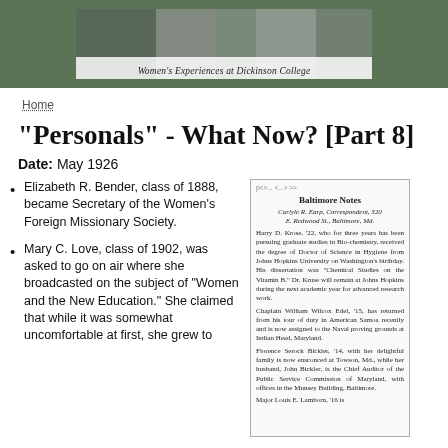[Figure (photo): Banner image for Women's Experiences at Dickinson College website, showing a collage of photos with text overlay.]
Home
"Personals" - What Now? [Part 8]
Date:  May 1926
Elizabeth R. Bender, class of 1888, became Secretary of the Women's Foreign Missionary Society.
Mary C. Love, class of 1902, was asked to go on air where she broadcasted on the subject of "Women and the New Education." She claimed that while it was somewhat uncomfortable at first, she grew to
[Figure (screenshot): Newspaper clipping titled 'Baltimore Notes' with a correspondent byline 'Carlyle R. Earp, Correspondent, 320 E. Redwood St., Baltimore, Md.' containing several short paragraphs about local alumni news.]